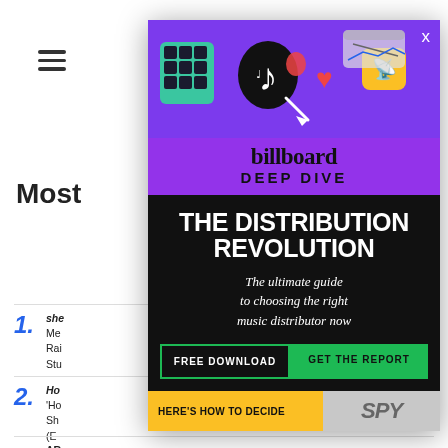Most
1. she... Mel... FBI Raid... His Studio
2. Ho... 'Ho... Sh... (E...  ...ies
3. AR... Ma... ...ure
[Figure (screenshot): Billboard Deep Dive advertisement overlay. Purple top section with TikTok icons and social media imagery. Billboard Deep Dive logo in purple/black section. Black section with large white text: THE DISTRIBUTION REVOLUTION. Subtitle: The ultimate guide to choosing the right music distributor now. Two buttons: FREE DOWNLOAD and GET THE REPORT (green). Bottom strip: HERE'S HOW TO DECIDE in yellow, SPY text in gray italic.]